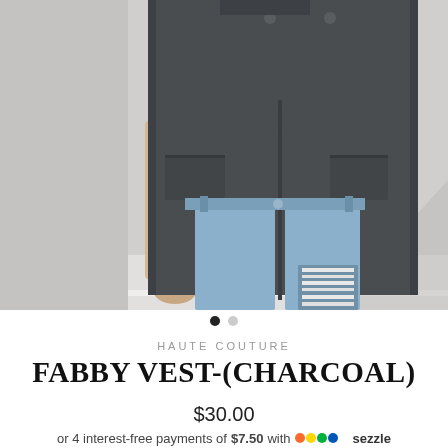[Figure (photo): Model wearing a long charcoal knit vest over a cream long-sleeve top and distressed light blue jeans, standing against a grey wall.]
• •
HAUTE COUTURE
FABBY VEST-(CHARCOAL)
$30.00
or 4 interest-free payments of $7.50 with Sezzle